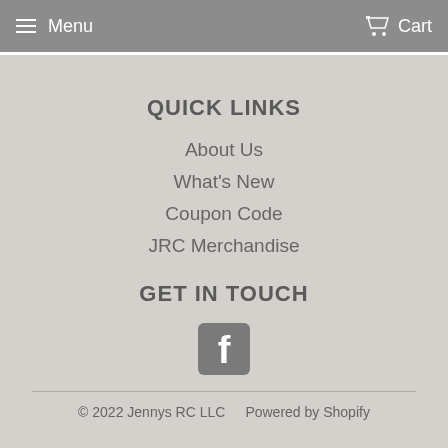Menu   Cart
QUICK LINKS
About Us
What's New
Coupon Code
JRC Merchandise
GET IN TOUCH
[Figure (logo): Facebook logo icon, square with rounded corners, gray color]
© 2022 Jennys RC LLC   Powered by Shopify